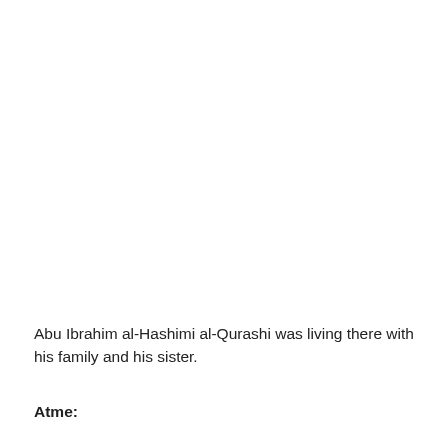Abu Ibrahim al-Hashimi al-Qurashi was living there with his family and his sister.
Atme: